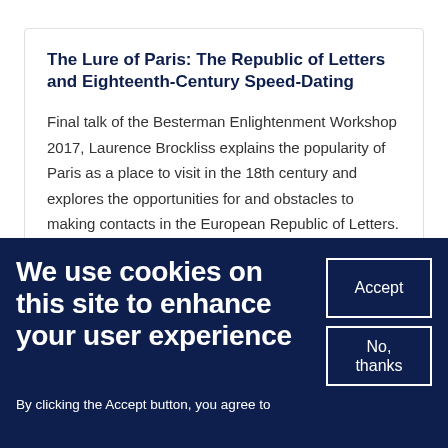The Lure of Paris: The Republic of Letters and Eighteenth-Century Speed-Dating
Final talk of the Besterman Enlightenment Workshop 2017, Laurence Brockliss explains the popularity of Paris as a place to visit in the 18th century and explores the opportunities for and obstacles to making contacts in the European Republic of Letters.
We use cookies on this site to enhance your user experience
By clicking the Accept button, you agree to